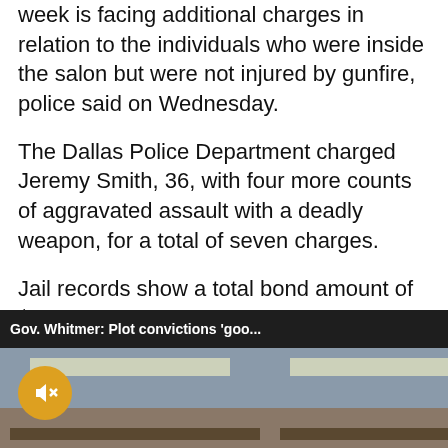week is facing additional charges in relation to the individuals who were inside the salon but were not injured by gunfire, police said on Wednesday.
The Dallas Police Department charged Jeremy Smith, 36, with four more counts of aggravated assault with a deadly weapon, for a total of seven charges.
Jail records show a total bond amount of $300,000 as of his arrest on Tuesday, counsel, court immediately clear whether ion as of Wednesday.
[Figure (screenshot): Video overlay popup with title 'Gov. Whitmer: Plot convictions goo...' with close button, showing a thumbnail of people seated at tables in a library/classroom setting, with a yellow mute button and teal play circle overlay]
Sections | NY Edition | Philly | Games | Advertise | Sign Up